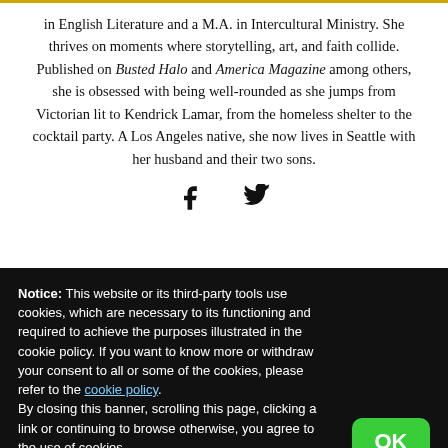in English Literature and a M.A. in Intercultural Ministry. She thrives on moments where storytelling, art, and faith collide. Published on Busted Halo and America Magazine among others, she is obsessed with being well-rounded as she jumps from Victorian lit to Kendrick Lamar, from the homeless shelter to the cocktail party. A Los Angeles native, she now lives in Seattle with her husband and their two sons.
[Figure (infographic): Social media icons: Facebook (f) and Twitter (bird) icons in black]
Notice: This website or its third-party tools use cookies, which are necessary to its functioning and required to achieve the purposes illustrated in the cookie policy. If you want to know more or withdraw your consent to all or some of the cookies, please refer to the cookie policy.
By closing this banner, scrolling this page, clicking a link or continuing to browse otherwise, you agree to the use of cookies.